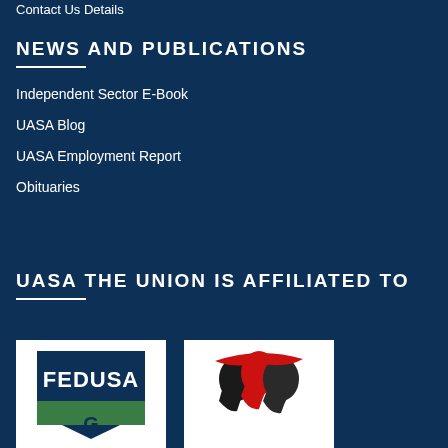Contact Us Details
NEWS AND PUBLICATIONS
Independent Sector E-Book
UASA Blog
UASA Employment Report
Obituaries
UASA THE UNION IS AFFILIATED TO
[Figure (logo): FEDUSA logo – blue and green shield with stylized letter shapes]
[Figure (logo): Red and black stylized faces/profiles logo]